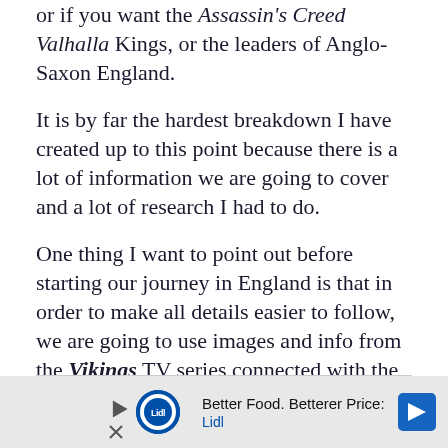or if you want the Assassin's Creed Valhalla Kings, or the leaders of Anglo-Saxon England.
It is by far the hardest breakdown I have created up to this point because there is a lot of information we are going to cover and a lot of research I had to do.
One thing I want to point out before starting our journey in England is that in order to make all details easier to follow, we are going to use images and info from the Vikings TV series connected with the historical facts I have managed to gather.
[Figure (other): Advertisement banner for Lidl: Better Food. Betterer Prices. Lidl]